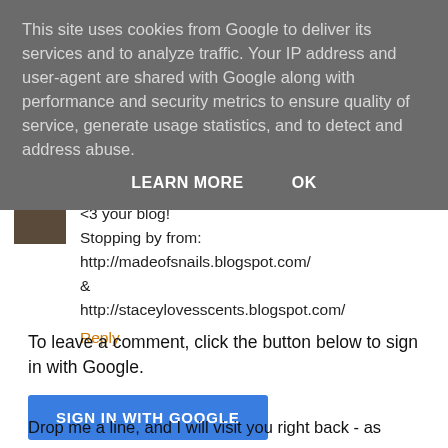This site uses cookies from Google to deliver its services and to analyze traffic. Your IP address and user-agent are shared with Google along with performance and security metrics to ensure quality of service, generate usage statistics, and to detect and address abuse.
LEARN MORE   OK
<3 your blog!
Stopping by from:
http://madeofsnails.blogspot.com/
&
http://staceylovesscents.blogspot.com/
Reply
To leave a comment, click the button below to sign in with Google.
SIGN IN WITH GOOGLE
Drop me a line, and I will visit you right back - as